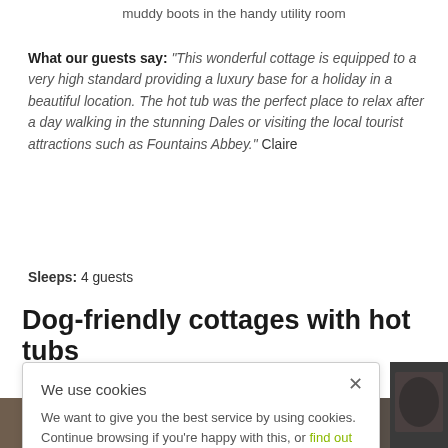muddy boots in the handy utility room
What our guests say: “This wonderful cottage is equipped to a very high standard providing a luxury base for a holiday in a beautiful location. The hot tub was the perfect place to relax after a day walking in the stunning Dales or visiting the local tourist attractions such as Fountains Abbey.” Claire
Sleeps: 4 guests
Dog-friendly cottages with hot tubs
We use cookies
We want to give you the best service by using cookies. Continue browsing if you’re happy with this, or find out more on our cookies.
[Figure (photo): Photo strip at bottom of page showing a dog and outdoor furniture/hot tub]